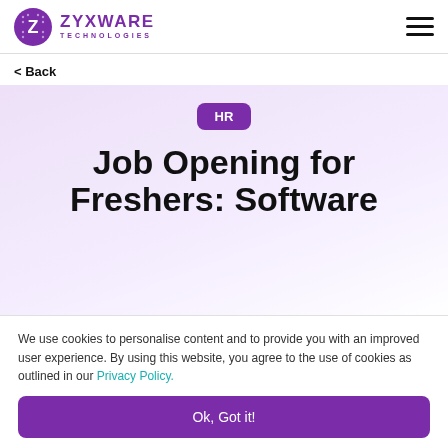ZYXWARE TECHNOLOGIES
< Back
HR
Job Opening for Freshers: Software
We use cookies to personalise content and to provide you with an improved user experience. By using this website, you agree to the use of cookies as outlined in our Privacy Policy.
Ok, Got it!